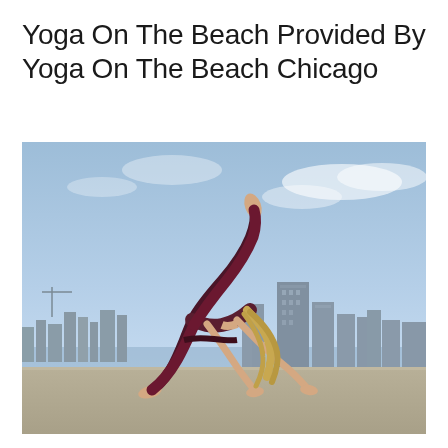Yoga On The Beach Provided By Yoga On The Beach Chicago
[Figure (photo): A woman performing a one-legged wheel yoga pose (Wild Thing / Camatkarasana) outdoors with the Chicago city skyline visible in the background under a blue sky. She is wearing dark maroon/burgundy yoga pants and a matching sports bra top, with blonde hair hanging down. One leg is extended high into the air while her hands and one foot support her in a backbend arch position on what appears to be a concrete surface near a waterfront.]